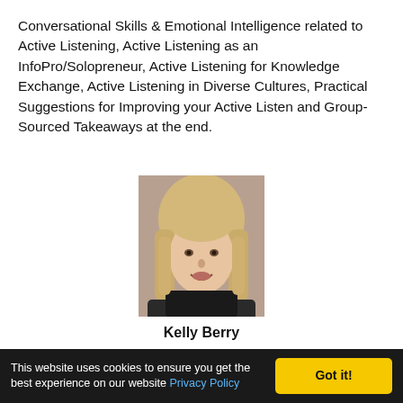Conversational Skills & Emotional Intelligence related to Active Listening, Active Listening as an InfoPro/Solopreneur, Active Listening for Knowledge Exchange, Active Listening in Diverse Cultures, Practical Suggestions for Improving your Active Listen and Group-Sourced Takeaways at the end.
[Figure (photo): Headshot of Kelly Berry, a blonde woman smiling, wearing a dark jacket]
Kelly Berry
[Figure (photo): Partial headshot of a woman with red/auburn hair and glasses, outdoors with green background]
This website uses cookies to ensure you get the best experience on our website Privacy Policy  Got it!